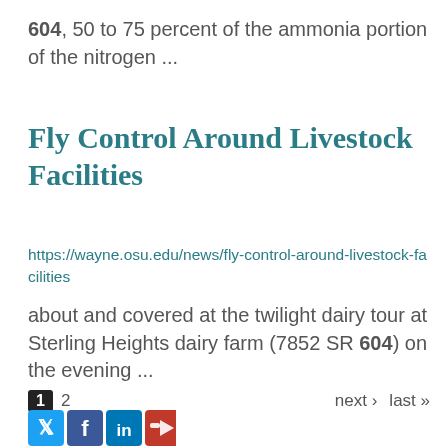604, 50 to 75 percent of the ammonia portion of the nitrogen ...
Fly Control Around Livestock Facilities
https://wayne.osu.edu/news/fly-control-around-livestock-facilities
about and covered at the twilight dairy tour at Sterling Heights dairy farm (7852 SR 604) on the evening ...
1  2  next › last »